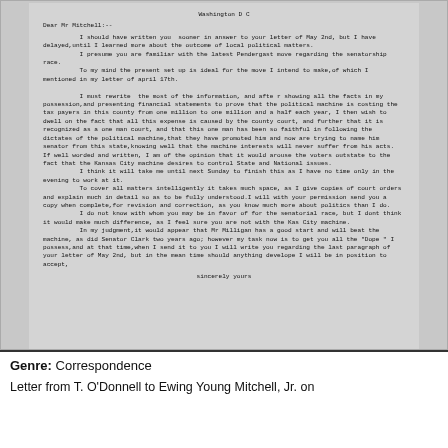[Figure (photo): Scanned typewritten letter on aged paper showing correspondence from T. O'Donnell to Ewing Young Mitchell Jr., beginning with 'Washington D C' and 'Dear Mr Mitchell:--', discussing political matters, the Pendergast machine, senatorial race, and ending with 'sincerely yours'.]
Genre: Correspondence
Letter from T. O'Donnell to Ewing Young Mitchell, Jr. on